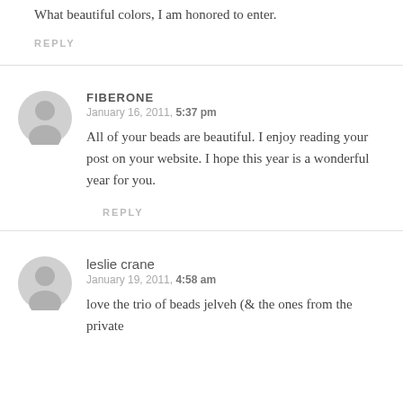What beautiful colors, I am honored to enter.
REPLY
FIBERONE
January 16, 2011, 5:37 pm
All of your beads are beautiful. I enjoy reading your post on your website. I hope this year is a wonderful year for you.
REPLY
leslie crane
January 19, 2011, 4:58 am
love the trio of beads jelveh (& the ones from the private